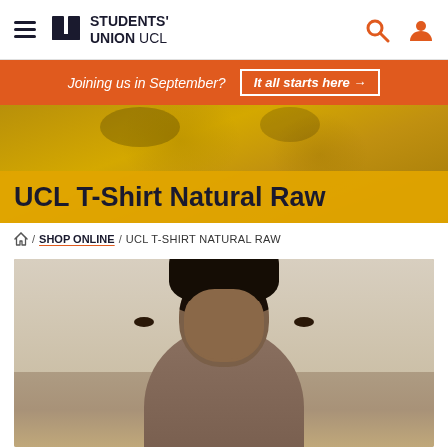Students' Union UCL
Joining us in September? It all starts here →
UCL T-Shirt Natural Raw
🏠 / SHOP ONLINE / UCL T-SHIRT NATURAL RAW
[Figure (photo): Portrait photo of a young man with curly hair smiling, wearing a UCL t-shirt, shown from shoulders up against a light background]